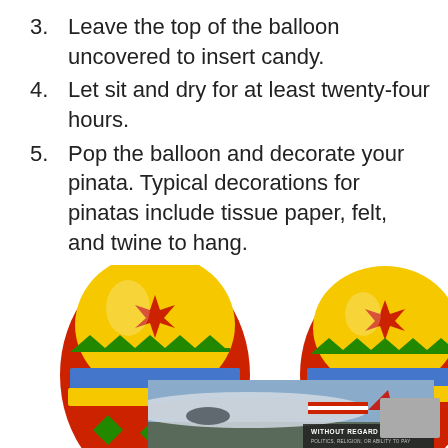3. Leave the top of the balloon uncovered to insert candy.
4. Let sit and dry for at least twenty-four hours.
5. Pop the balloon and decorate your pinata. Typical decorations for pinatas include tissue paper, felt, and twine to hang.
[Figure (photo): Two colorful Easter eggs decorated with red, yellow, green, and blue patterns, side by side on a white background.]
[Figure (photo): Airplane cargo loading on tarmac, with overlay text 'WITHOUT REGARD TO POLITICS, RELIGION, OR ABILITY TO PAY']